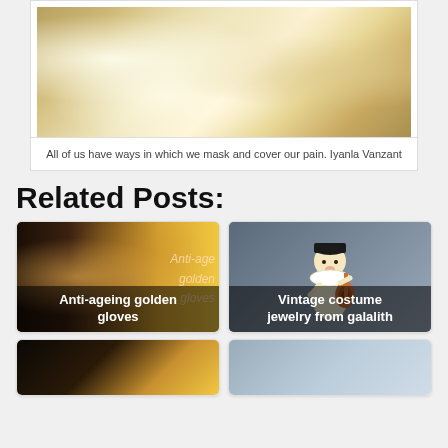[Figure (photo): Close-up photo of ornate cream/gold satin and lace fabric with decorative roses and embellishments, resembling a wedding dress or costume]
All of us have ways in which we mask and cover our pain. Iyanla Vanzant
Related Posts:
[Figure (photo): Card with woman's glamorous face on dark/gold background with text overlay 'Anti-ageing golden gloves']
[Figure (illustration): Card with Pierrot clown figure playing guitar on grey background with text overlay 'Vintage costume jewelry from galalith']
[Figure (photo): Partial card showing dark gold background, bottom row left]
[Figure (photo): Partial card showing light grey/blue background with jewelry, bottom row right]